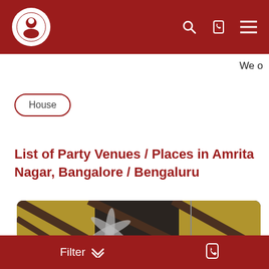Navigation bar with logo, search, call, and menu icons
We o
House
List of Party Venues / Places in Amrita Nagar, Bangalore / Bengaluru
[Figure (photo): Interior photo of a party venue showing decorated ceiling with golden patterns, chandelier, ceiling fans, recessed lighting, white walls, and dark-framed doors]
Filter   ​ [phone icon]